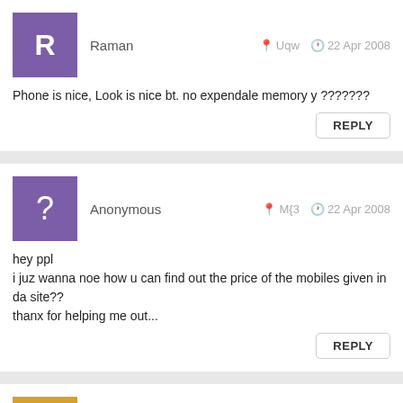Raman   Uqw   22 Apr 2008
Phone is nice, Look is nice bt. no expendale memory y ???????
REPLY
Anonymous   M{3   22 Apr 2008
hey ppl
i juz wanna noe how u can find out the price of the mobiles given in da site??
thanx for helping me out...
REPLY